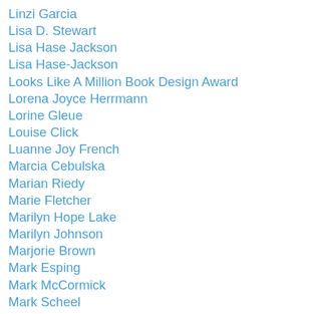Linzi Garcia
Lisa D. Stewart
Lisa Hase Jackson
Lisa Hase-Jackson
Looks Like A Million Book Design Award
Lorena Joyce Herrmann
Lorine Gleue
Louise Click
Luanne Joy French
Marcia Cebulska
Marian Riedy
Marie Fletcher
Marilyn Hope Lake
Marilyn Johnson
Marjorie Brown
Mark Esping
Mark McCormick
Mark Scheel
Mark Simmons
Mark Wentling
Martha Danielson